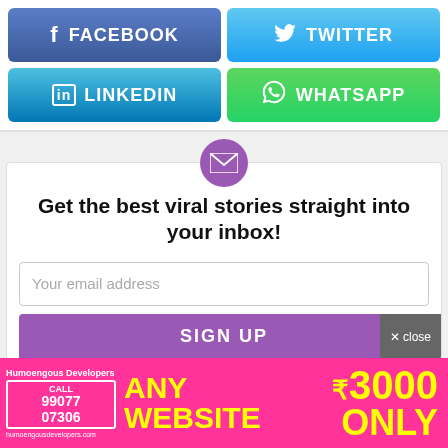[Figure (screenshot): Facebook share button — blue gradient with 'f' icon and 'FACEBOOK' text]
[Figure (screenshot): Twitter share button — blue gradient with bird icon and 'TWITTER' text]
[Figure (screenshot): LinkedIn share button — blue gradient with 'in' icon and 'LINKEDIN' text]
[Figure (screenshot): WhatsApp share button — green gradient with WhatsApp icon and 'WHATSAPP' text]
[Figure (infographic): Email sign-up widget with purple envelope icon, headline text, email input field, and SIGN UP button. Close button at bottom right.]
Get the best viral stories straight into your inbox!
Your email address
SIGN UP
[Figure (infographic): Advertisement banner for Humoengous Developers — pink background, yellow text 'ANY WEBSITE', yellow price '₹3000 ONLY', call box with number 99077 07306]
ANY WEBSITE ₹3000 ONLY